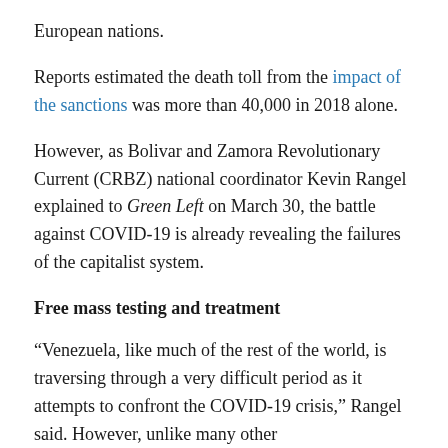European nations.
Reports estimated the death toll from the impact of the sanctions was more than 40,000 in 2018 alone.
However, as Bolivar and Zamora Revolutionary Current (CRBZ) national coordinator Kevin Rangel explained to Green Left on March 30, the battle against COVID-19 is already revealing the failures of the capitalist system.
Free mass testing and treatment
“Venezuela, like much of the rest of the world, is traversing through a very difficult period as it attempts to confront the COVID-19 crisis,” Rangel said. However, unlike many other